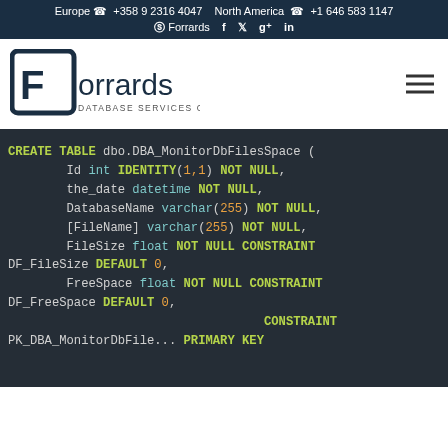Europe +358 9 2316 4047 North America +1 646 583 1147 | Forrards
[Figure (logo): Forrards Database Services Consultancy logo with stylized F in square bracket icon]
CREATE TABLE dbo.DBA_MonitorDbFilesSpace (
    Id int IDENTITY(1,1) NOT NULL,
    the_date datetime NOT NULL,
    DatabaseName varchar(255) NOT NULL,
    [FileName] varchar(255) NOT NULL,
    FileSize float NOT NULL CONSTRAINT DF_FileSize DEFAULT 0,
    FreeSpace float NOT NULL CONSTRAINT DF_FreeSpace DEFAULT 0,
    CONSTRAINT PK_DBA_MonitorDbFilesSpace PRIMARY KEY